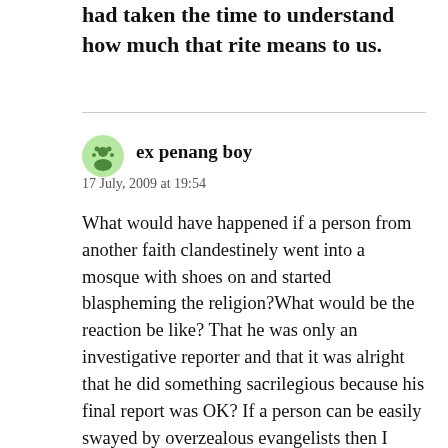had taken the time to understand how much that rite means to us.
ex penang boy
17 July, 2009 at 19:54
What would have happened if a person from another faith clandestinely went into a mosque with shoes on and started blaspheming the religion?What would be the reaction be like? That he was only an investigative reporter and that it was alright that he did something sacrilegious because his final report was OK? If a person can be easily swayed by overzealous evangelists then I think he needs to relook the